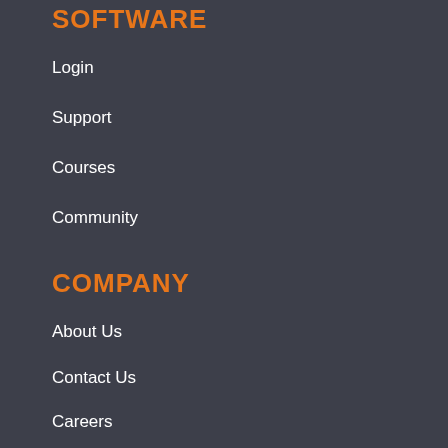SOFTWARE
Login
Support
Courses
Community
COMPANY
About Us
Contact Us
Careers
bovisync.com [search bar with Search button]
[Figure (other): Google Play Store badge with 'GET IT ON Google Pl...' text and logo]